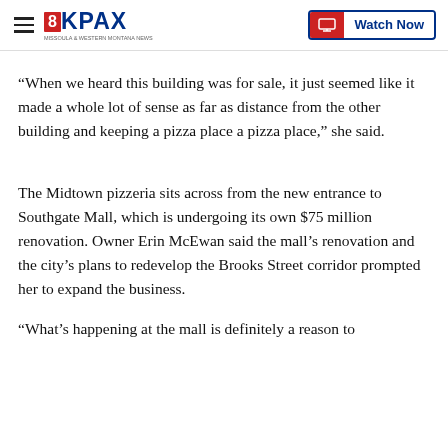8KPAX — Watch Now
“When we heard this building was for sale, it just seemed like it made a whole lot of sense as far as distance from the other building and keeping a pizza place a pizza place,” she said.
The Midtown pizzeria sits across from the new entrance to Southgate Mall, which is undergoing its own $75 million renovation. Owner Erin McEwan said the mall’s renovation and the city’s plans to redevelop the Brooks Street corridor prompted her to expand the business.
“What’s happening at the mall is definitely a reason to f… … … … Brooks Street”